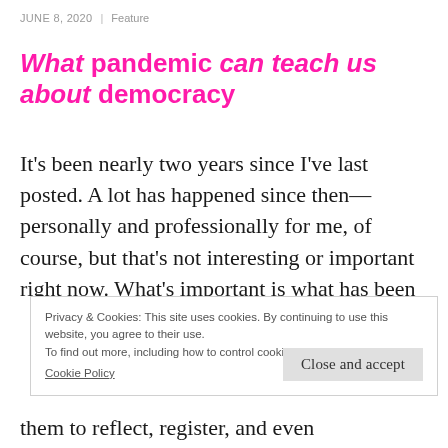JUNE 8, 2020 | Feature
What pandemic can teach us about democracy
It's been nearly two years since I've last posted. A lot has happened since then—personally and professionally for me, of course, but that's not interesting or important right now. What's important is what has been
Privacy & Cookies: This site uses cookies. By continuing to use this website, you agree to their use.
To find out more, including how to control cookies, see here:
Cookie Policy
them to reflect, register, and even